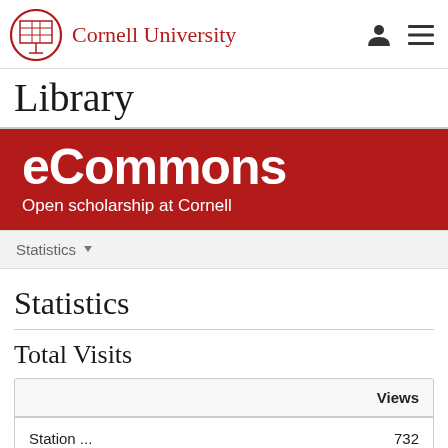Cornell University
Library
eCommons
Open scholarship at Cornell
Statistics
Statistics
Total Visits
|  | Views |
| --- | --- |
| Station ... | 732 |